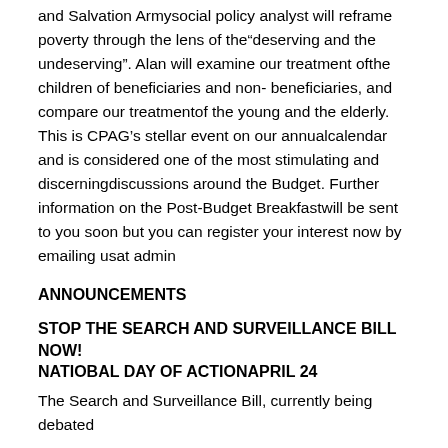and Salvation Armysocial policy analyst will reframe poverty through the lens of the“deserving and the undeserving”. Alan will examine our treatment ofthe children of beneficiaries and non- beneficiaries, and compare our treatmentof the young and the elderly. This is CPAG’s stellar event on our annualcalendar and is considered one of the most stimulating and discerningdiscussions around the Budget. Further information on the Post-Budget Breakfastwill be sent to you soon but you can register your interest now by emailing usat admin
ANNOUNCEMENTS
STOP THE SEARCH AND SURVEILLANCE BILL NOW! NATIOBAL DAY OF ACTIONAPRIL 24
The Search and Surveillance Bill, currently being debated